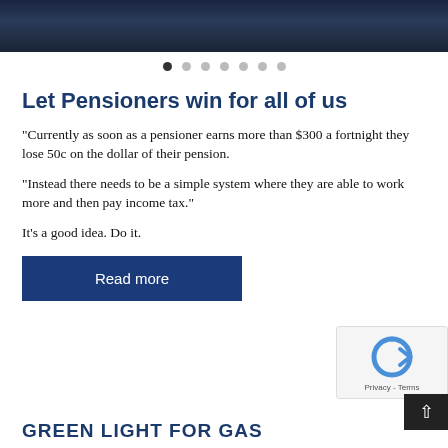[Figure (photo): Dark photograph of people, partially visible at the top of the page]
[Figure (other): Carousel navigation dots — 7 dots with the first one filled/active]
Let Pensioners win for all of us
“Currently as soon as a pensioner earns more than $300 a fortnight they lose 50c on the dollar of their pension.
“Instead there needs to be a simple system where they are able to work more and then pay income tax.”
It’s a good idea. Do it.
Read more
[Figure (other): reCAPTCHA widget showing the logo and Privacy / Terms links]
GREEN LIGHT FOR GAS